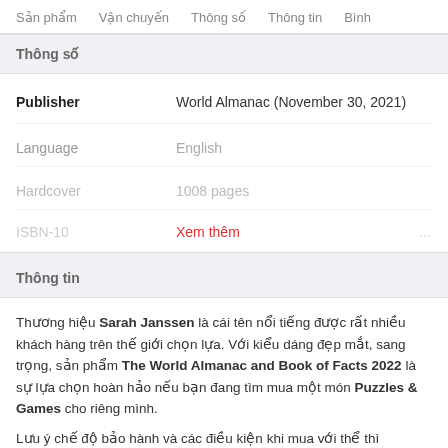Sản phẩm   Vận chuyến   Thông số   Thông tin   Bình
Thông số
|  |  |
| --- | --- |
| Publisher | World Almanac (November 30, 2021) |
| Language | English |
| Hardcover | 1008 pages |
| ISBN-10 | Xem thêm |
Thông tin
Thương hiệu Sarah Janssen là cái tên nổi tiếng được rất nhiều khách hàng trên thế giới chọn lựa. Với kiểu dáng đẹp mắt, sang trọng, sản phẩm The World Almanac and Book of Facts 2022 là sự lựa chọn hoàn hảo nếu bạn đang tìm mua một món Puzzles & Games cho riêng mình.